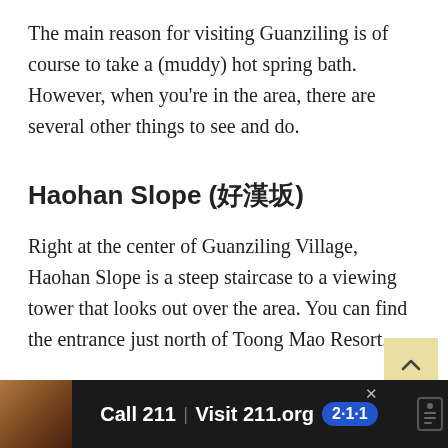The main reason for visiting Guanziling is of course to take a (muddy) hot spring bath. However, when you're in the area, there are several other things to see and do.
Haohan Slope (好漢坡)
Right at the center of Guanziling Village, Haohan Slope is a steep staircase to a viewing tower that looks out over the area. You can find the entrance just north of Toong Mao Resort.
[Figure (infographic): Advertisement bar at bottom: photo of child, Call 211 | Visit 211.org with 2-1-1 badge]